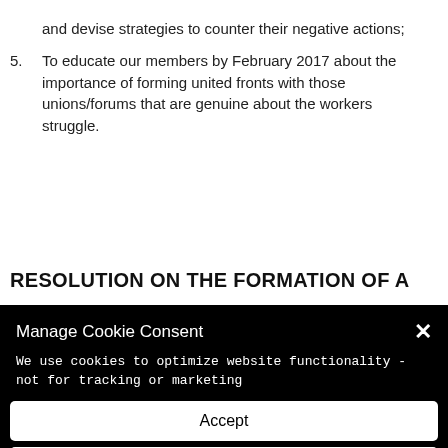and devise strategies to counter their negative actions;
5. To educate our members by February 2017 about the importance of forming united fronts with those unions/forums that are genuine about the workers struggle.
RESOLUTION ON THE FORMATION OF A
Manage Cookie Consent
We use cookies to optimize website functionality - not for tracking or marketing
Accept
Deny
Preferences